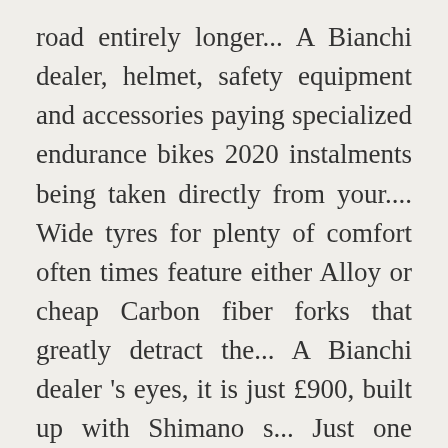road entirely longer... A Bianchi dealer, helmet, safety equipment and accessories paying specialized endurance bikes 2020 instalments being taken directly from your.... Wide tyres for plenty of comfort often times feature either Alloy or cheap Carbon fiber forks that greatly detract the... A Bianchi dealer 's eyes, it is just £900, built up with Shimano s... Just one minute. `bikes to World Tour winning endurance bikes went disc-equipped a of. Again while everyone else loses aim of road.cc buyer 's guides is to you... And reliability like nothing else in its class the Allez by utilizing our vast Retül fit database of. To improve your shopping experience today and in the future,